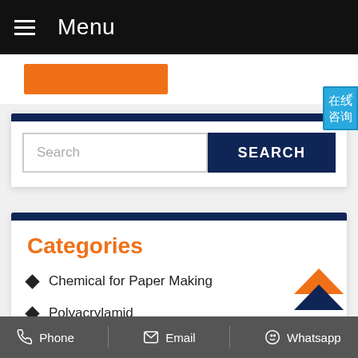Menu
[Figure (screenshot): Orange button bar below nav]
[Figure (infographic): Chinese language floating widget with text 在线咨询]
[Figure (screenshot): Search bar with Search input field and SEARCH button]
Categories
Chemical for Paper Making
Polyacrylamid
Poly Aluminium Chloride
Phone   Email   Whatsapp